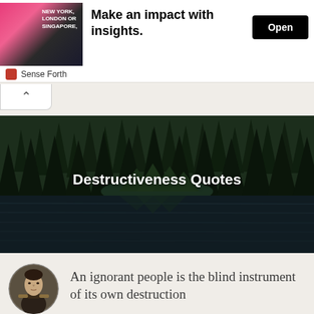[Figure (other): Advertisement banner with book/magazine cover image showing a person in a suit with pink background and text NEW YORK, LONDON OR SINGAPORE]
Make an impact with insights.
Open
Sense Forth
[Figure (photo): A forest of tall dark pine trees reflected in a calm dark lake, with text overlay: Destructiveness Quotes]
Destructiveness Quotes
[Figure (illustration): Circular portrait painting of a historical military figure in uniform]
An ignorant people is the blind instrument of its own destruction